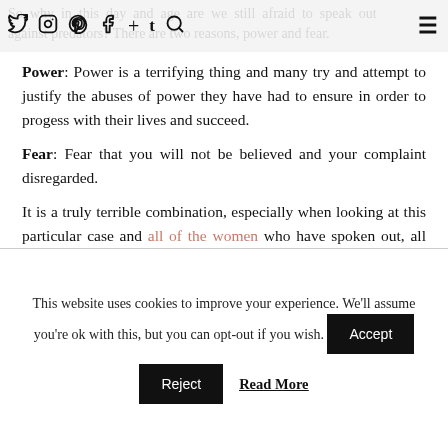So why in this day and age are we still afraid to speak out against predators? There are two reasons, power and fear.
Power: Power is a terrifying thing and many try and attempt to justify the abuses of power they have had to ensure in order to progess with their lives and succeed.
Fear: Fear that you will not be believed and your complaint disregarded.
It is a truly terrible combination, especially when looking at this particular case and all of the women who have spoken out, all too afraid that their careers would suffer and even more
This website uses cookies to improve your experience. We'll assume you're ok with this, but you can opt-out if you wish.